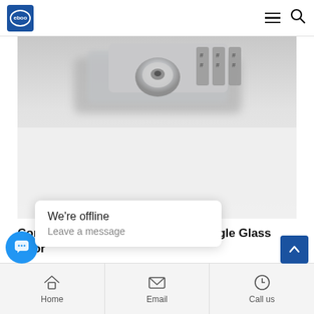eboo logo, hamburger menu, search icon
[Figure (photo): Close-up photo of a 4-digit combination lock mechanism in zinc/silver finish, partially blurred background]
Combination Lock 4 Digit - Zinc Single Glass Door
nd   Download Brochure
We're offline
Leave a message
Home   Email   Call us